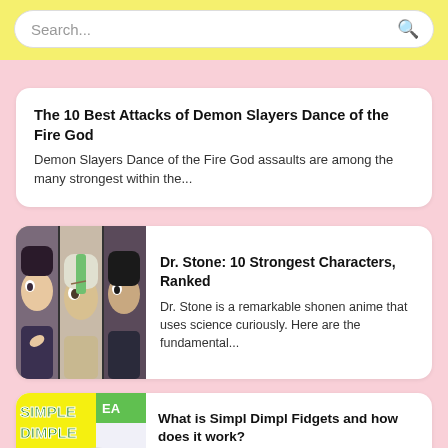Search...
The 10 Best Attacks of Demon Slayers Dance of the Fire God
Demon Slayers Dance of the Fire God assaults are among the many strongest within the...
[Figure (illustration): Anime characters from Dr. Stone — three characters shown side by side with distinct hair colors]
Dr. Stone: 10 Strongest Characters, Ranked
Dr. Stone is a remarkable shonen anime that uses science curiously. Here are the fundamental...
[Figure (photo): Simple Dimple fidget toy with colorful buttons on white background with yellow text SIMPLE DIMPLE]
What is Simpl Dimpl Fidgets and how does it work?
What is Simpl Dimples? Stress Fidget is a marvelous better approach to assist with wiping...